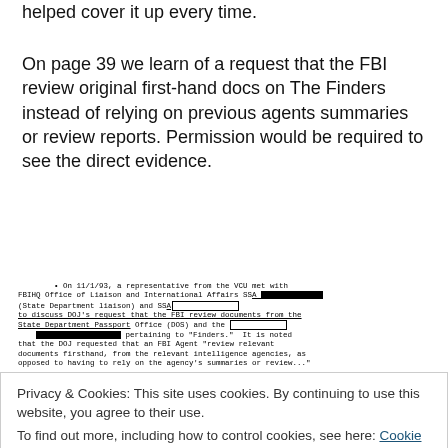helped cover it up every time.
On page 39 we learn of a request that the FBI review original first-hand docs on The Finders instead of relying on previous agents summaries or review reports. Permission would be required to see the direct evidence.
[Figure (screenshot): Scanned FBI document excerpt with redacted names. Text reads: On 11/1/93, a representative from the VCU met with FBIHQ Office of Liaison and International Affairs SSA [REDACTED] (State Department liaison) and SSA [REDACTED] to discuss DOJ's request that the FBI review documents from the State Department Passport Office (DOS) and the [REDACTED] pertaining to 'Finders.' It is noted that the DOJ requested that an FBI Agent 'review relevant documents firsthand, from the relevant intelligence agencies, as opposed to having to rely on the agency's summaries or review...']
Privacy & Cookies: This site uses cookies. By continuing to use this website, you agree to their use.
To find out more, including how to control cookies, see here: Cookie Policy
agency with briefing materials on The Finders. DOJ